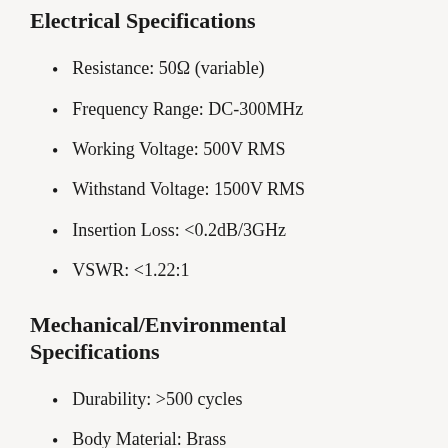Electrical Specifications
Resistance: 50Ω (variable)
Frequency Range: DC-300MHz
Working Voltage: 500V RMS
Withstand Voltage: 1500V RMS
Insertion Loss: <0.2dB/3GHz
VSWR: <1.22:1
Mechanical/Environmental Specifications
Durability: >500 cycles
Body Material: Brass